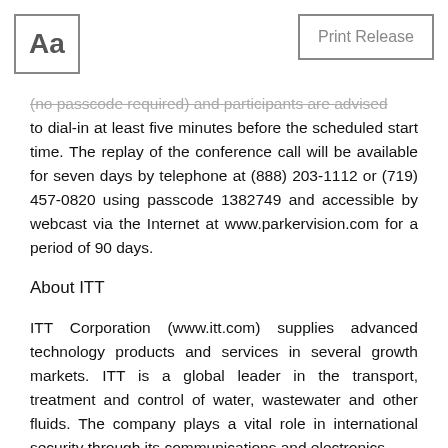Aa | Print Release
(no passcode required) and participants are advised to dial-in at least five minutes before the scheduled start time. The replay of the conference call will be available for seven days by telephone at (888) 203-1112 or (719) 457-0820 using passcode 1382749 and accessible by webcast via the Internet at www.parkervision.com for a period of 90 days.
About ITT
ITT Corporation (www.itt.com) supplies advanced technology products and services in several growth markets. ITT is a global leader in the transport, treatment and control of water, wastewater and other fluids. The company plays a vital role in international security through its communications and electronics